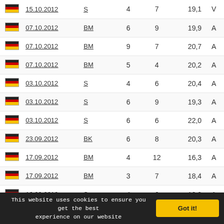| Flag | Date | Type | Col1 | Col2 | Score | Result |
| --- | --- | --- | --- | --- | --- | --- |
| DE | 15.10.2012 | S | 4 | 7 | 19,1 | V |
| DE | 07.10.2012 | BM | 6 | 9 | 19,9 | A |
| DE | 07.10.2012 | BM | 9 | 7 | 20,7 | A |
| DE | 07.10.2012 | BM | 5 | 4 | 20,2 | A |
| DE | 03.10.2012 | S | 4 | 6 | 20,4 | A |
| DE | 03.10.2012 | S | 6 | 9 | 19,3 | A |
| DE | 03.10.2012 | S | 6 | 6 | 22,0 | A |
| DE | 23.09.2012 | BK | 6 | 8 | 20,3 | A |
| DE | 17.09.2012 | BM | 4 | 12 | 16,3 | A |
| DE | 17.09.2012 | BM | 3 | 7 | 18,4 | A |
| DE | 16.09.2012 | S | 4 | 6 | 18,8 | A |
| DE | 07.09.2012 | BK | 4+ | 5 | 17,8 | A |
| DE | 07.09.2012 | BK | DN | 2 |  | A |
| DE | 03.09.2012 | BM | DN | 9 |  | A |
| DE | 03.09.2012 | BM | 8 | 8 | 18,6 | A |
| DE | 25.08.2012 | BK | 3 | 6 | 20,7 | A |
This website uses cookies to ensure you get the best experience on our website